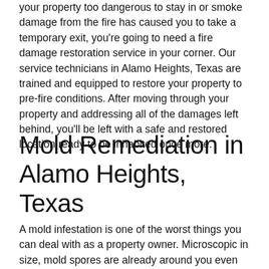your property too dangerous to stay in or smoke damage from the fire has caused you to take a temporary exit, you're going to need a fire damage restoration service in your corner. Our service technicians in Alamo Heights, Texas are trained and equipped to restore your property to pre-fire conditions. After moving through your property and addressing all of the damages left behind, you'll be left with a safe and restored location ready to be inhabited once more.
Mold Remediation in Alamo Heights, Texas
A mold infestation is one of the worst things you can deal with as a property owner. Microscopic in size, mold spores are already around you even now. On